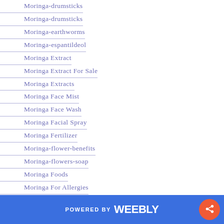Moringa-drumsticks
Moringa-drumsticks
Moringa-earthworms
Moringa-espantildeol
Moringa Extract
Moringa Extract For Sale
Moringa Extracts
Moringa Face Mist
Moringa Face Wash
Moringa Facial Spray
Moringa Fertilizer
Moringa-flower-benefits
Moringa-flowers-soap
Moringa Foods
Moringa For Allergies
Moringa For Antibactrial Cleaning
POWERED BY weebly